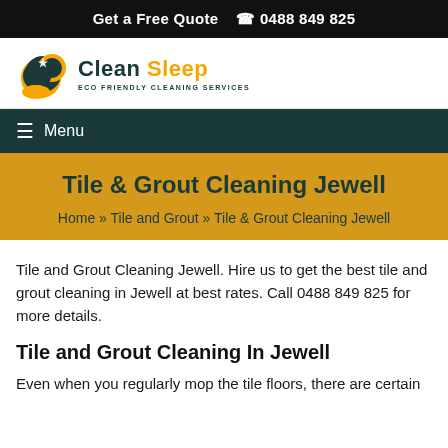Get a Free Quote  📞 0488 849 825
[Figure (logo): Clean Sleep logo — crescent moon with sparkle icon in teal and gold, with text 'Clean Sleep' and tagline 'ECO FRIENDLY CLEANING SERVICES']
≡ Menu
Tile & Grout Cleaning Jewell
Home » Tile and Grout » Tile & Grout Cleaning Jewell
Tile and Grout Cleaning Jewell. Hire us to get the best tile and grout cleaning in Jewell at best rates. Call 0488 849 825 for more details.
Tile and Grout Cleaning In Jewell
Even when you regularly mop the tile floors, there are certain